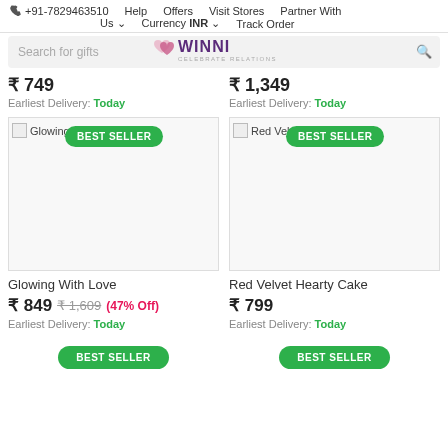+91-7829463510  Help  Offers  Visit Stores  Partner With Us  Currency INR  Track Order
[Figure (screenshot): Winni.in website search bar with logo. Search placeholder text 'Search for gifts', Winni logo with hearts, 'CELEBRATE RELATIONS' tagline, magnifier icon.]
₹ 749
Earliest Delivery: Today
₹ 1,349
Earliest Delivery: Today
[Figure (photo): Broken image placeholder for 'Glowing W' product with BEST SELLER badge]
[Figure (photo): Broken image placeholder for 'Red Velve' product with BEST SELLER badge]
Glowing With Love
₹ 849  ₹ 1,609  (47% Off)
Earliest Delivery: Today
Red Velvet Hearty Cake
₹ 799
Earliest Delivery: Today